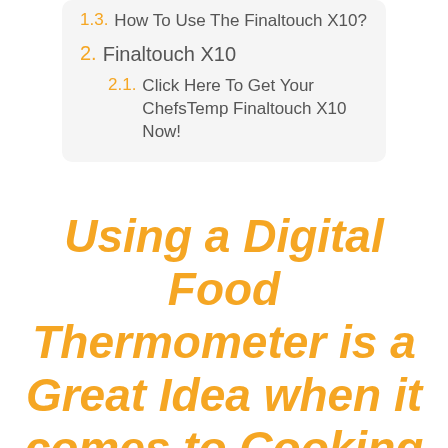1.3. How To Use The Finaltouch X10?
2. Finaltouch X10
2.1. Click Here To Get Your ChefsTemp Finaltouch X10 Now!
Using a Digital Food Thermometer is a Great Idea when it comes to Cooking Meat